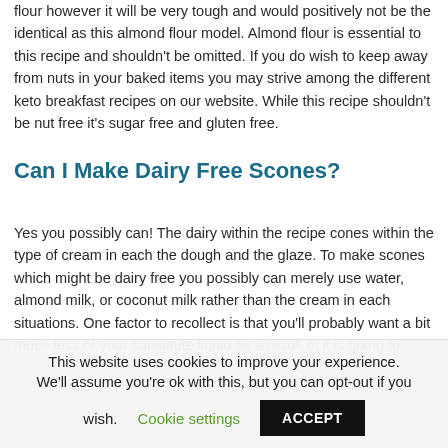flour however it will be very tough and would positively not be the identical as this almond flour model. Almond flour is essential to this recipe and shouldn't be omitted. If you do wish to keep away from nuts in your baked items you may strive among the different keto breakfast recipes on our website. While this recipe shouldn't be nut free it's sugar free and gluten free.
Can I Make Dairy Free Scones?
Yes you possibly can! The dairy within the recipe cones within the type of cream in each the dough and the glaze. To make scones which might be dairy free you possibly can merely use water, almond milk, or coconut milk rather than the cream in each situations. One factor to recollect is that you'll probably want a bit much less of your substitute liquid as a result of it is going to
This website uses cookies to improve your experience. We'll assume you're ok with this, but you can opt-out if you wish. Cookie settings ACCEPT